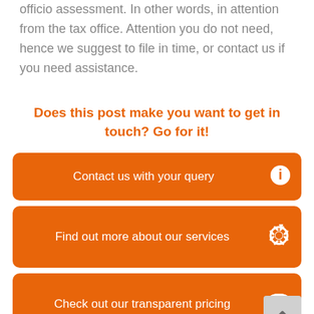officio assessment. In other words, in attention from the tax office. Attention you do not need, hence we suggest to file in time, or contact us if you need assistance.
Does this post make you want to get in touch? Go for it!
[Figure (infographic): Three orange call-to-action buttons: 'Contact us with your query' with info icon, 'Find out more about our services' with settings icon, 'Check out our transparent pricing' with coins icon. A gray scroll-to-top button is overlapping the bottom right corner.]